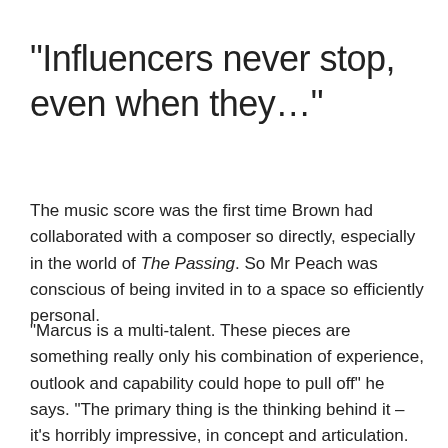“Influencers never stop, even when they…”
The music score was the first time Brown had collaborated with a composer so directly, especially in the world of The Passing. So Mr Peach was conscious of being invited in to a space so efficiently personal.
“Marcus is a multi-talent. These pieces are something really only his combination of experience, outlook and capability could hope to pull off” he says. “The primary thing is the thinking behind it – it’s horribly impressive, in concept and articulation. Very clever subversion of the lexicon of techbro marketing that tickles the mind beautifully, but filtered through the visual language of a